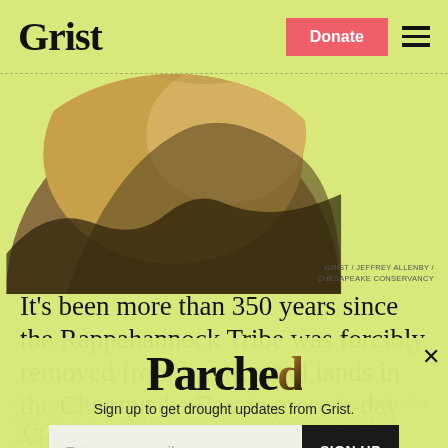Grist | Donate | menu
[Figure (photo): Aerial photograph of land and water meeting, shown as partial circle, with earth tones of brown and dark green]
GRIST / JEFFREY ALLENBY / CHESAPEAKE CONSERVANCY
It’s been more than 350 years since the Rappahannock Tribe was forcibly removed from its ancestral lands in the Chesapeake Bay in present-day Virginia. Now, it’s finally
Grist.org uses cookies for enhanced user experience, and for analyzing the site’s performance. Grist may share information about your use of our website with social media partners and analytics partners.
[Figure (logo): Parched logo in large serif text with decorative earthy texture]
Sign up to get drought updates from Grist.
Enter your email
SIGN UP
PRIVACY POLICY
No thanks